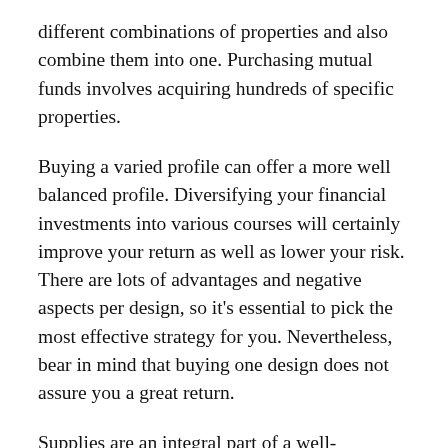different combinations of properties and also combine them into one. Purchasing mutual funds involves acquiring hundreds of specific properties.
Buying a varied profile can offer a more well balanced profile. Diversifying your financial investments into various courses will certainly improve your return as well as lower your risk. There are lots of advantages and negative aspects per design, so it's essential to pick the most effective strategy for you. Nevertheless, bear in mind that buying one design does not assure you a great return.
Supplies are an integral part of a well-diversified portfolio. The securities market is the most usual kind of financial investment for most individuals. The majority of them have at least some money purchased mutual funds.